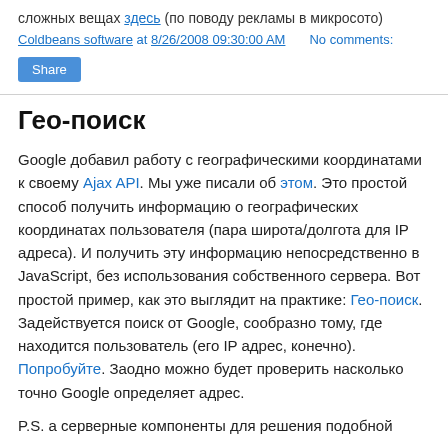сложных вещах здесь (по поводу рекламы в микросото)
Coldbeans software at 8/26/2008 09:30:00 AM   No comments:
Share
Гео-поиск
Google добавил работу с географическими координатами к своему Ajax API. Мы уже писали об этом. Это простой способ получить информацию о географических координатах пользователя (пара широта/долгота для IP адреса). И получить эту информацию непосредственно в JavaScript, без использования собственного сервера. Вот простой пример, как это выглядит на практике: Гео-поиск. Задействуется поиск от Google, сообразно тому, где находится пользователь (его IP адрес, конечно). Попробуйте. Заодно можно будет проверить насколько точно Google определяет адрес.
P.S. а серверные компоненты для решения подобной